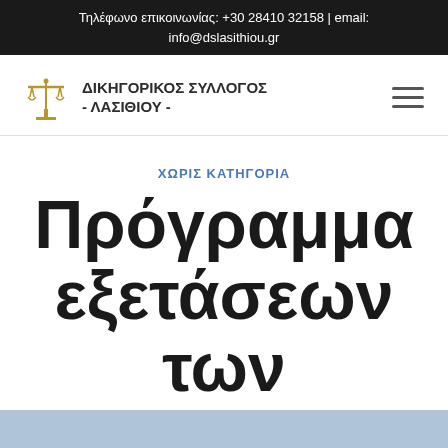Τηλέφωνο επικοινωνίας: +30 28410 32158 | email: info@dslasithiou.gr
[Figure (logo): Scales of justice logo with Greek text: ΔΙΚΗΓΟΡΙΚΟΣ ΣΥΛΛΟΓΟΣ - ΛΑΣΙΘΙΟΥ -]
ΧΩΡΙΣ ΚΑΤΗΓΟΡΙΑ
Πρόγραμμα εξετάσεων των